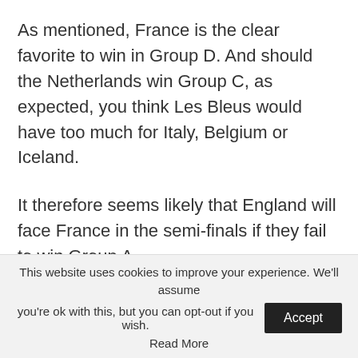As mentioned, France is the clear favorite to win in Group D. And should the Netherlands win Group C, as expected, you think Les Bleus would have too much for Italy, Belgium or Iceland.
It therefore seems likely that England will face France in the semi-finals if they fail to win Group A.
This website uses cookies to improve your experience. We'll assume you're ok with this, but you can opt-out if you wish. Accept Read More